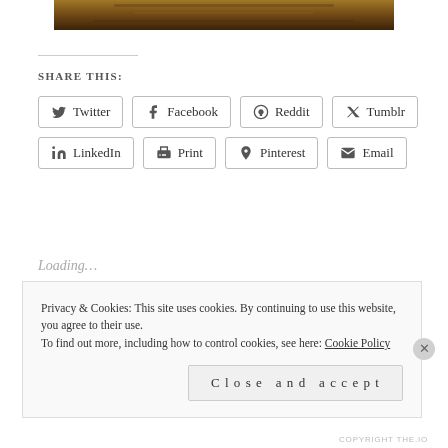[Figure (photo): Partial photo strip showing a dark wooden surface or furniture, cropped at top]
SHARE THIS:
Twitter | Facebook | Reddit | Tumblr | LinkedIn | Print | Pinterest | Email
Loading…
Privacy & Cookies: This site uses cookies. By continuing to use this website, you agree to their use. To find out more, including how to control cookies, see here: Cookie Policy
Close and accept
COPYRIGHT THE.IO